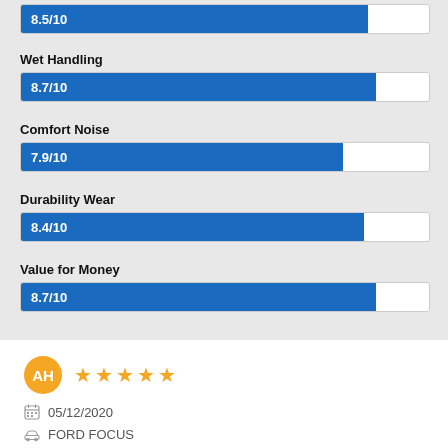[Figure (bar-chart): Ratings]
AH  05/12/2020  FORD FOCUS  Been a couple of months since having these